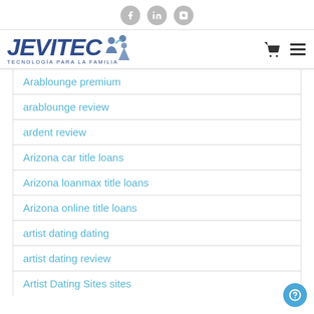Social icons: Facebook, LinkedIn, Instagram
[Figure (logo): JEVITEC logo with tagline TECNOLOGÍA PARA LA FAMILIA and family icon, plus cart and menu icons]
Arablounge premium
arablounge review
ardent review
Arizona car title loans
Arizona loanmax title loans
Arizona online title loans
artist dating dating
artist dating review
Artist Dating Sites sites